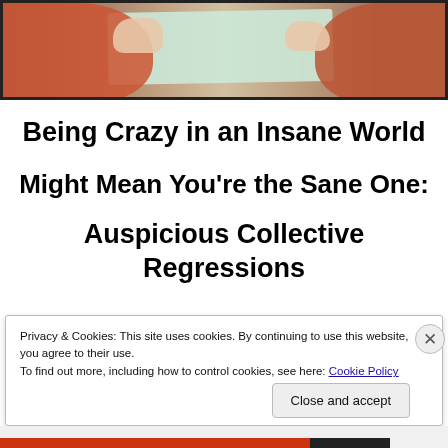[Figure (photo): Hands holding or touching a piece of paper on a table, person wearing red sleeves]
Being Crazy in an Insane World

Might Mean You’re the Sane One:

Auspicious Collective Regressions
Privacy & Cookies: This site uses cookies. By continuing to use this website, you agree to their use.
To find out more, including how to control cookies, see here: Cookie Policy
Close and accept